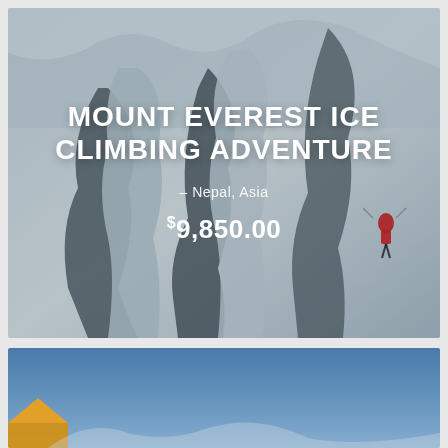[Figure (photo): Aerial or high-angle view of a climber in red jacket on a steep ice and snow-covered ridge on Mount Everest. The mountain face shows dramatic crevasses and glacial formations in shades of white, blue-grey, and dark rock.]
MOUNT EVEREST ICE CLIMBING ADVENTURE
– Nepal, Asia
$9,850.00
[Figure (photo): Partial view of a mountain scene with blue sky and what appears to be a yellow/orange tent or equipment at the bottom left corner.]